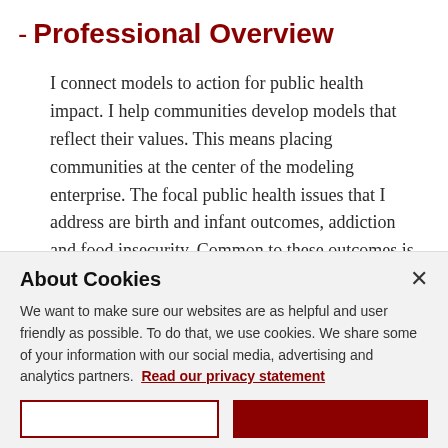- Professional Overview
I connect models to action for public health impact. I help communities develop models that reflect their values. This means placing communities at the center of the modeling enterprise. The focal public health issues that I address are birth and infant outcomes, addiction and food insecurity. Common to these outcomes is the role of social determinants of health, the need for multiple stakeholder
About Cookies
We want to make sure our websites are as helpful and user friendly as possible. To do that, we use cookies. We share some of your information with our social media, advertising and analytics partners.  Read our privacy statement